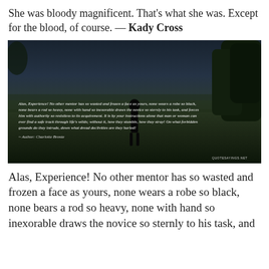She was bloody magnificent. That's what she was. Except for the blood, of course. — Kady Cross
[Figure (photo): Dark atmospheric outdoor scene with a figure in a field, overlaid with a Charlotte Brontë quote in white italic text. Watermark reads QUOTESAYINGS.NET.]
Alas, Experience! No other mentor has so wasted and frozen a face as yours, none wears a robe so black, none bears a rod so heavy, none with hand so inexorable draws the novice so sternly to his task, and